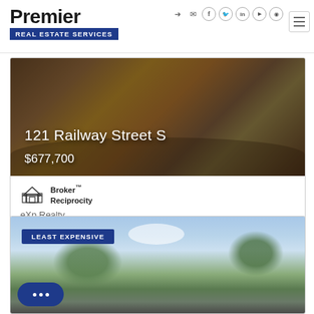[Figure (logo): Premier Real Estate Services logo - bold black Premier text with blue banner showing REAL ESTATE SERVICES]
[Figure (screenshot): Social media icons: login arrow, email, Facebook, Twitter, LinkedIn, YouTube, Instagram in circular outlines]
[Figure (screenshot): Hamburger menu button (three horizontal lines)]
[Figure (photo): Interior living room photo with couch and wooden coffee table, dark overlay]
121 Railway Street S
$677,700
[Figure (logo): Broker Reciprocity house logo]
Broker™ Reciprocity
eXp Realty
[Figure (photo): Exterior photo of property with trees and sky, labeled LEAST EXPENSIVE]
LEAST EXPENSIVE